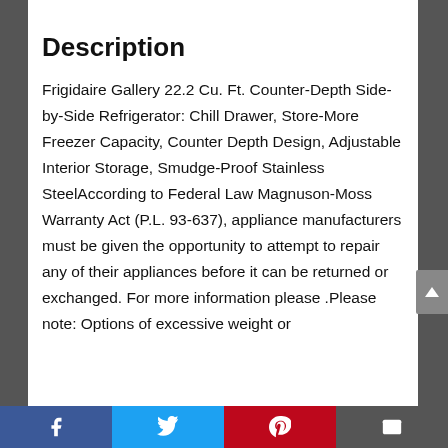Description
Frigidaire Gallery 22.2 Cu. Ft. Counter-Depth Side-by-Side Refrigerator: Chill Drawer, Store-More Freezer Capacity, Counter Depth Design, Adjustable Interior Storage, Smudge-Proof Stainless SteelAccording to Federal Law Magnuson-Moss Warranty Act (P.L. 93-637), appliance manufacturers must be given the opportunity to attempt to repair any of their appliances before it can be returned or exchanged. For more information please .Please note: Options of excessive weight or